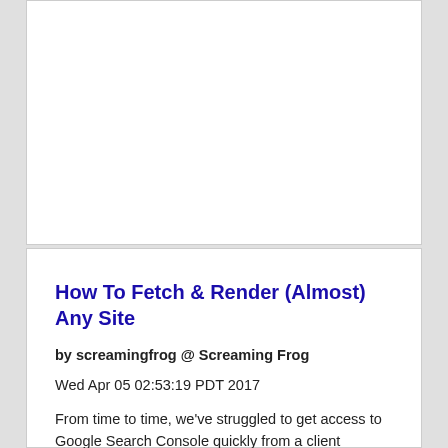[Figure (other): Empty white card/advertisement placeholder box at top of page]
How To Fetch & Render (Almost) Any Site
by screamingfrog @ Screaming Frog
Wed Apr 05 02:53:19 PDT 2017
From time to time, we’ve struggled to get access to Google Search Console quickly from a client